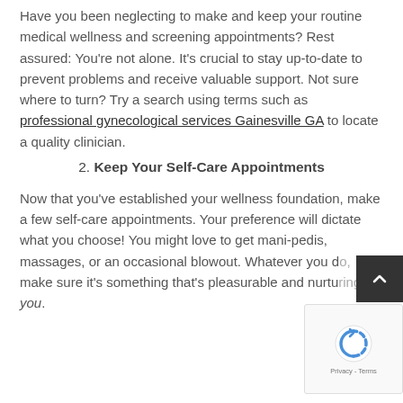Have you been neglecting to make and keep your routine medical wellness and screening appointments? Rest assured: You're not alone. It's crucial to stay up-to-date to prevent problems and receive valuable support. Not sure where to turn? Try a search using terms such as professional gynecological services Gainesville GA to locate a quality clinician.
2. Keep Your Self-Care Appointments
Now that you've established your wellness foundation, make a few self-care appointments. Your preference will dictate what you choose! You might love to get mani-pedis, massages, or an occasional blowout. Whatever you do, make sure it's something that's pleasurable and nurturing for you.